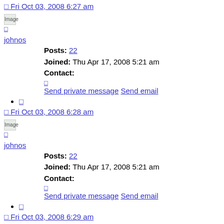Fri Oct 03, 2008 6:27 am
[Figure (other): Broken image placeholder labeled 'Image']
johnos
Posts: 22
Joined: Thu Apr 17, 2008 5:21 am
Contact:
Send private message Send email
[icon link]
Fri Oct 03, 2008 6:28 am
[Figure (other): Broken image placeholder labeled 'Image']
johnos
Posts: 22
Joined: Thu Apr 17, 2008 5:21 am
Contact:
Send private message Send email
[icon link]
Fri Oct 03, 2008 6:29 am